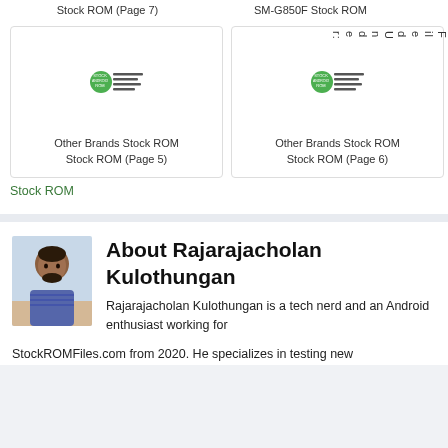Stock ROM (Page 7)
SM-G850F Stock ROM
[Figure (logo): Stock Android ROM logo - small green circular icon with Android text]
Other Brands Stock ROM
Stock ROM (Page 5)
[Figure (logo): Stock Android ROM logo - small green circular icon with Android text]
Other Brands Stock ROM
Stock ROM (Page 6)
Filed Under:
Stock ROM
[Figure (photo): Portrait photo of Rajarajacholan Kulothungan - a young man with short dark hair and beard, wearing a striped shirt, photographed outdoors]
About Rajarajacholan Kulothungan
Rajarajacholan Kulothungan is a tech nerd and an Android enthusiast working for StockROMFiles.com from 2020. He specializes in testing new